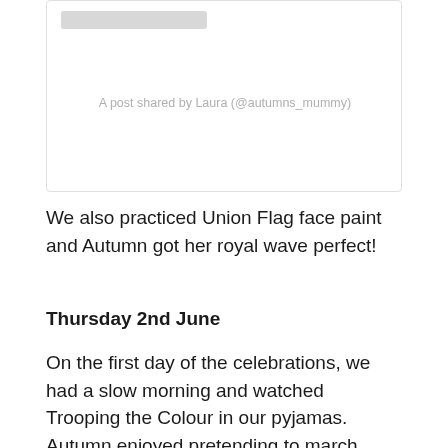[Figure (screenshot): Embedded social media post box with a grey placeholder bar at the top and a caption reading 'A post shared by Laura (@autumns_mummy)']
A post shared by Laura (@autumns_mummy)
We also practiced Union Flag face paint and Autumn got her royal wave perfect!
Thursday 2nd June
On the first day of the celebrations, we had a slow morning and watched Trooping the Colour in our pyjamas. Autumn enjoyed pretending to march along with me. Even my husband got involved at one point! We watched RAF aircraft from around the country beginning to gather just off the coast of Norfolk on Flight Radar ahead of the flypover. For me, personally